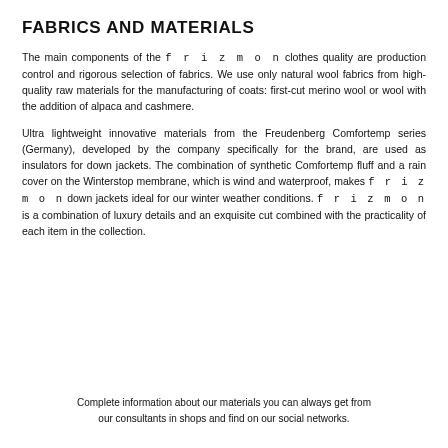FABRICS AND MATERIALS
The main components of the f r i z m o n clothes quality are production control and rigorous selection of fabrics. We use only natural wool fabrics from high-quality raw materials for the manufacturing of coats: first-cut merino wool or wool with the addition of alpaca and cashmere.
Ultra lightweight innovative materials from the Freudenberg Comfortemp series (Germany), developed by the company specifically for the brand, are used as insulators for down jackets. The combination of synthetic Comfortemp fluff and a rain cover on the Winterstop membrane, which is wind and waterproof, makes f r i z m o n down jackets ideal for our winter weather conditions. f r i z m o n is a combination of luxury details and an exquisite cut combined with the practicality of each item in the collection.
Complete information about our materials you can always get from our consultants in shops and find on our social networks.